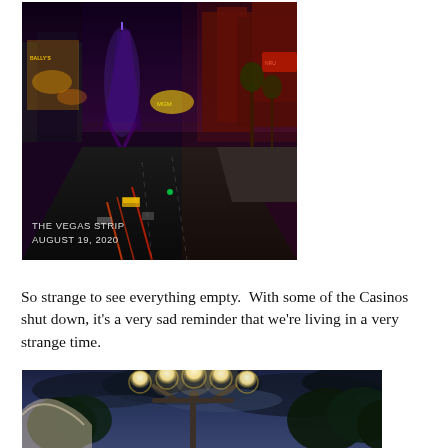[Figure (photo): Night photo of the Las Vegas Strip showing neon lights, casino signs including Bally's and Paris casino with Eiffel Tower replica, street traffic with light trails, with text overlay reading 'THE VEGAS STRIP AUGUST 19, 2020']
So strange to see everything empty.  With some of the Casinos shut down, it's a very sad reminder that we're living in a very strange time.
[Figure (photo): Outdoor scene showing decorative street lamp post with multiple globe lights against a dramatic cloudy sky at dusk, with trees and a curved architectural element visible]